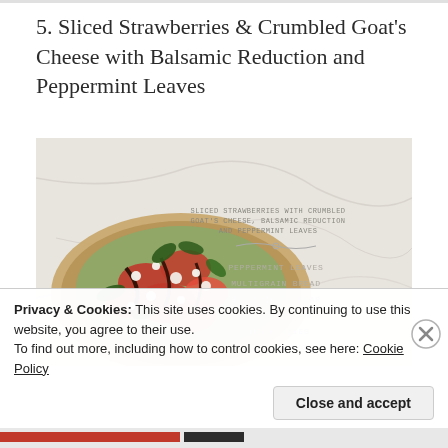5. Sliced Strawberries & Crumbled Goat's Cheese with Balsamic Reduction and Peppermint Leaves
[Figure (photo): Photo of toast topped with sliced strawberries, crumbled goat's cheese, balsamic reduction drizzle, and peppermint leaves on a marble surface. Text overlay on right side lists: SLICED STRAWBERRIES WITH CRUMBLED GOAT'S CHEESE, BALSAMIC REDUCTION AND PEPPERMINT LEAVES. Below: PEPPERMINT LEAVES, MULTIGRAIN BREAD, BALSAMIC VINEGAR, GOAT'S CHEESE, STRAWBERRIES, SMASHED AVO]
Privacy & Cookies: This site uses cookies. By continuing to use this website, you agree to their use.
To find out more, including how to control cookies, see here: Cookie Policy
Close and accept